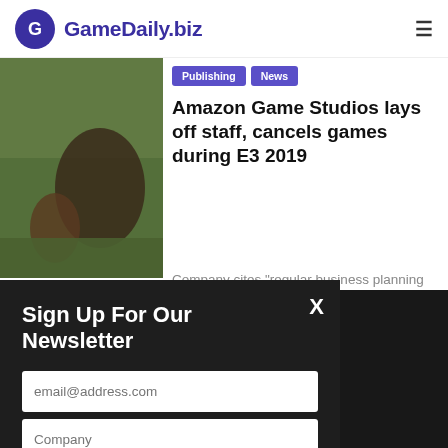GameDaily.biz
[Figure (photo): Game screenshot showing a person and a bear on a grassy field]
Publishing
News
Amazon Game Studios lays off staff, cancels games during E3 2019
Company cites "regular business planning cycles" and says it's still "deeply committed to games."
Sign Up For Our Newsletter
email@address.com
Company
Job Title
Submit